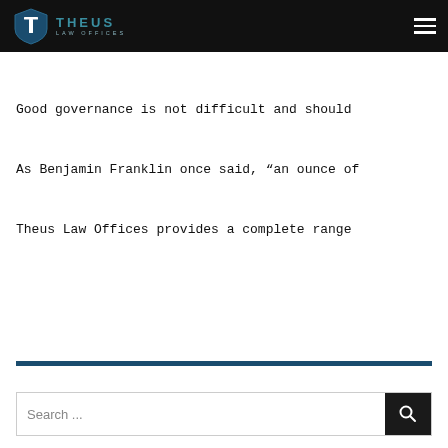Theus Law Offices
Good governance is not difficult and should
As Benjamin Franklin once said, “an ounce of
Theus Law Offices provides a complete range